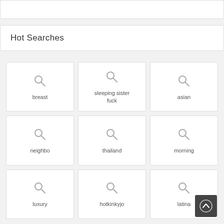Hot Searches
breast
sleeping sister fuck
asian
neighbo
thailand
morning
luxury
hotkinkyjo
latina